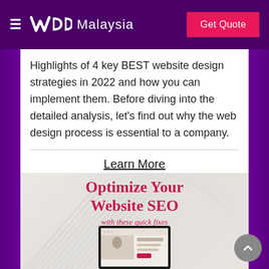WDD Malaysia | Get Quote
Highlights of 4 key BEST website design strategies in 2022 and how you can implement them. Before diving into the detailed analysis, let's find out why the web design process is essential to a company.
Learn More
[Figure (screenshot): SEO promotional card with text 'Optimize Your Website SEO with these quick fixes' and a laptop screenshot showing a website, on a light background with palm leaf decorative element.]
[Figure (other): Scroll-to-top circular button with upward arrow, gray color, bottom right corner.]